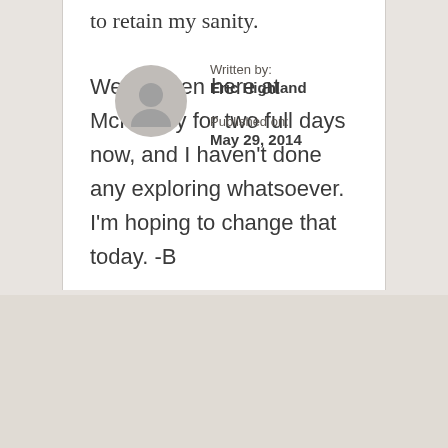to retain my sanity.
We've been here at McKinney for two full days now, and I haven't done any exploring whatsoever. I'm hoping to change that today. -B
Written by:
Eric Highland

Published on:
May 29, 2014